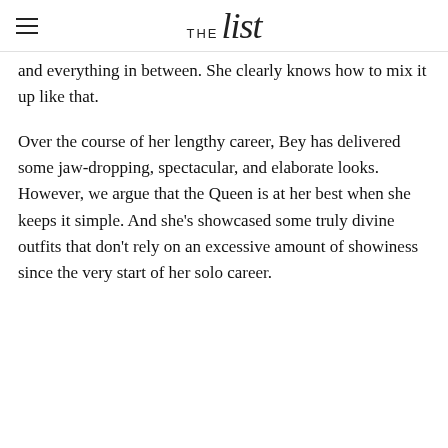THE list
and everything in between. She clearly knows how to mix it up like that.
Over the course of her lengthy career, Bey has delivered some jaw-dropping, spectacular, and elaborate looks. However, we argue that the Queen is at her best when she keeps it simple. And she's showcased some truly divine outfits that don't rely on an excessive amount of showiness since the very start of her solo career.